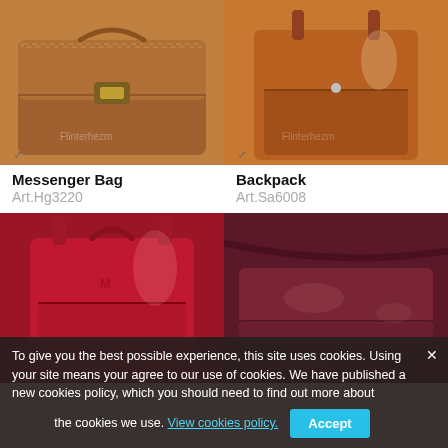[Figure (photo): Brown leather messenger bag with front clasp closure, top view]
[Figure (photo): Tan leather backpack / sling bag, glossy finish]
Messenger Bag
Art.Hg3220
Backpack
Art.Sa6008
[Figure (photo): Red glossy leather backpack, front view]
[Figure (photo): Dark burgundy/maroon leather messenger bag]
To give you the best possible experience, this site uses cookies. Using your site means your agree to our use of cookies. We have published a new cookies policy, which you should need to find out more about the cookies we use. View cookies policy.